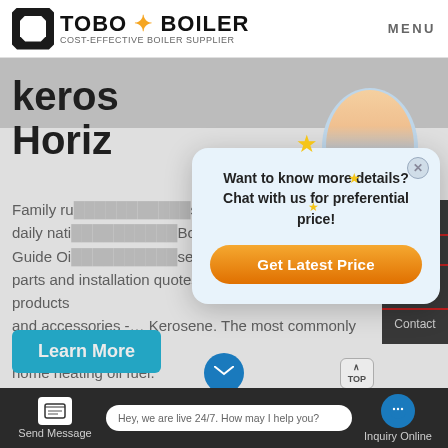TOBO BOILER — COST-EFFECTIVE BOILER SUPPLIER | MENU
keros Horiz
Family ru... s and daily nati... Boiler Guide Oi... servi En... parts and installation quotes Home heating oil products and accessories -… Kerosene. The most commonly used home heating oil fuel.
[Figure (screenshot): Chat popup modal with customer service avatar, stars decoration, text 'Want to know more details? Chat with us for preferential price!' and orange 'Get Latest Price' button]
Chat
Boiler
servi En
Contact
Hey, we are live 24/7. How may I help you?
Send Message
Inquiry Online